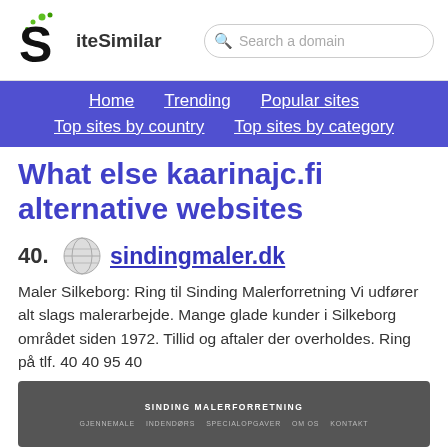[Figure (logo): SiteSimilar logo with S and green dots, plus search bar]
Home | Trending | Popular sites | Top sites by country | Top sites by category
What else kaarinajc.fi alternative websites
40. sindingmaler.dk — Maler Silkeborg: Ring til Sinding Malerforretning Vi udfører alt slags malerarbejde. Mange glade kunder i Silkeborg området siden 1972. Tillid og aftaler der overholdes. Ring på tlf. 40 40 95 40
[Figure (screenshot): Screenshot of sindingmaler.dk website showing dark header with SINDING MALERFORRETNING title and navigation links]